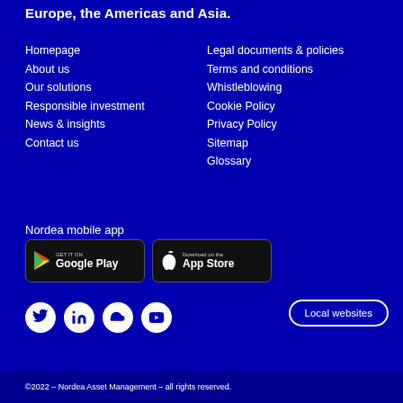Europe, the Americas and Asia.
Homepage
About us
Our solutions
Responsible investment
News & insights
Contact us
Legal documents & policies
Terms and conditions
Whistleblowing
Cookie Policy
Privacy Policy
Sitemap
Glossary
Nordea mobile app
[Figure (logo): Google Play store download badge]
[Figure (logo): Apple App Store download badge]
[Figure (infographic): Social media icons: Twitter, LinkedIn, SoundCloud, YouTube]
Local websites
©2022 – Nordea Asset Management – all rights reserved.